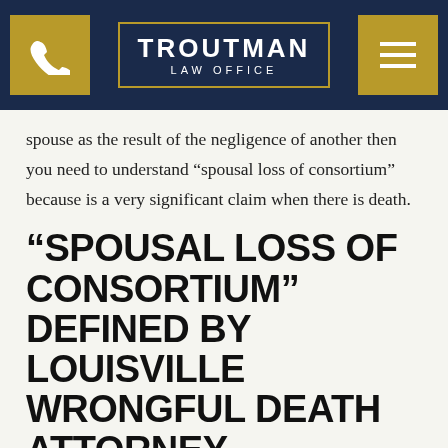TROUTMAN LAW OFFICE
spouse as the result of the negligence of another then you need to understand “spousal loss of consortium” because is a very significant claim when there is death.
“SPOUSAL LOSS OF CONSORTIUM” DEFINED BY LOUISVILLE WRONGFUL DEATH ATTORNEY
A “spousal loss of consortium claim” claim is the